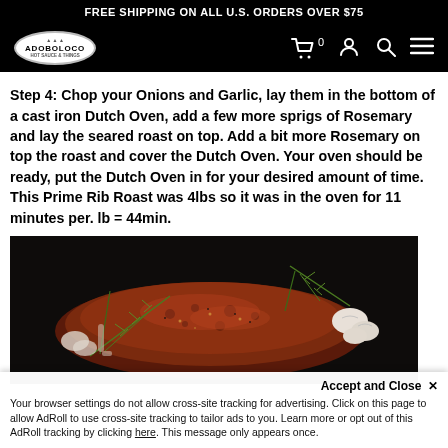FREE SHIPPING ON ALL U.S. ORDERS OVER $75
[Figure (logo): Adoboloco logo in oval shape with navigation icons (cart with 0, user, search, menu)]
Step 4: Chop your Onions and Garlic, lay them in the bottom of a cast iron Dutch Oven, add a few more sprigs of Rosemary and lay the seared roast on top. Add a bit more Rosemary on top the roast and cover the Dutch Oven. Your oven should be ready, put the Dutch Oven in for your desired amount of time. This Prime Rib Roast was 4lbs so it was in the oven for 11 minutes per. lb = 44min.
[Figure (photo): Close-up photo of a seared prime rib roast with rosemary sprigs and garlic cloves on a dark surface]
Accept and Close ✕
Your browser settings do not allow cross-site tracking for advertising. Click on this page to allow AdRoll to use cross-site tracking to tailor ads to you. Learn more or opt out of this AdRoll tracking by clicking here. This message only appears once.